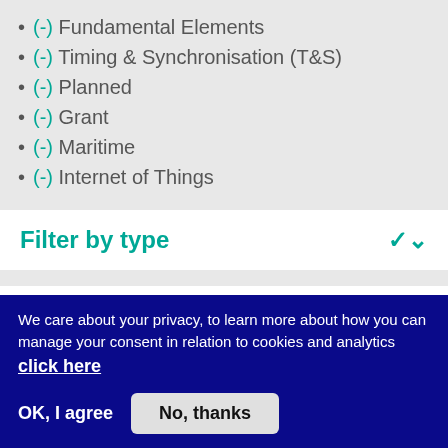(-) Fundamental Elements
(-) Timing & Synchronisation (T&S)
(-) Planned
(-) Grant
(-) Maritime
(-) Internet of Things
Filter by type
Filter by status
We care about your privacy, to learn more about how you can manage your consent in relation to cookies and analytics click here
OK, I agree   No, thanks